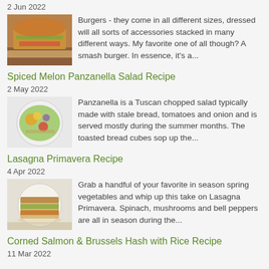2 Jun 2022
[Figure (photo): Close-up photo of sliders/mini burgers on a plate]
Burgers - they come in all different sizes, dressed will all sorts of accessories stacked in many different ways. My favorite one of all though? A smash burger. In essence, it's a...
Spiced Melon Panzanella Salad Recipe
2 May 2022
[Figure (photo): Photo of a colorful chopped salad on a white plate]
Panzanella is a Tuscan chopped salad typically made with stale bread, tomatoes and onion and is served mostly during the summer months. The toasted bread cubes sop up the...
Lasagna Primavera Recipe
4 Apr 2022
[Figure (photo): Photo of lasagna with spring vegetables on a white plate]
Grab a handful of your favorite in season spring vegetables and whip up this take on Lasagna Primavera. Spinach, mushrooms and bell peppers are all in season during the...
Corned Salmon & Brussels Hash with Rice Recipe
11 Mar 2022